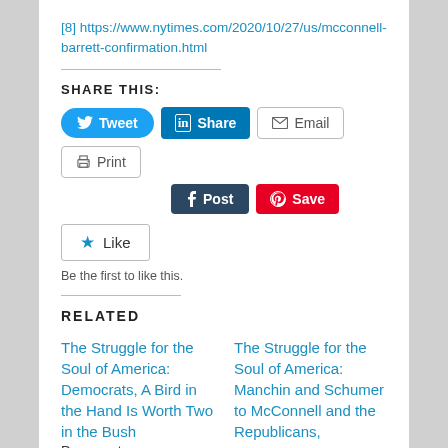[8] https://www.nytimes.com/2020/10/27/us/mcconnell-barrett-confirmation.html
SHARE THIS:
[Figure (screenshot): Social share buttons: Tweet, Share (LinkedIn), Email, Print, Post (Tumblr), Save (Pinterest)]
[Figure (screenshot): Like button with star icon and text 'Be the first to like this.']
RELATED
The Struggle for the Soul of America: Democrats, A Bird in the Hand Is Worth Two in the Bush Democrats are
The Struggle for the Soul of America: Manchin and Schumer to McConnell and the Republicans,